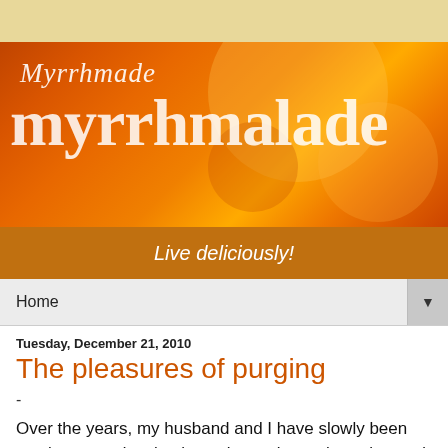[Figure (illustration): Blog header banner with orange/red flame-like background. Script text 'Myrrhмade' at top and large bold text 'myrrhmalade' below.]
Live deliciously!
Home ▼
Tuesday, December 21, 2010
The pleasures of purging
-
Over the years, my husband and I have slowly been moving toward a simpler, calmer, slower, less cluttered life. In the past few months these goals have begun to truly take hold.
As someone who had always had a junk pile in a corner or